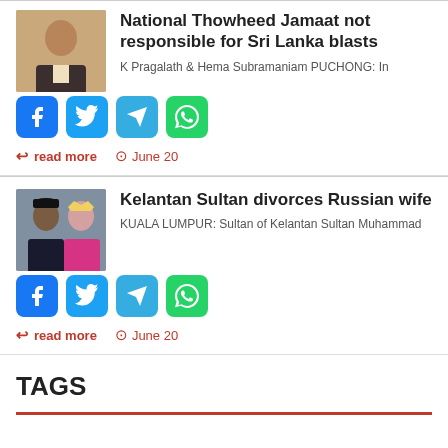National Thowheed Jamaat not responsible for Sri Lanka blasts
K Pragalath & Hema Subramaniam PUCHONG: In
[Figure (other): Social share icons: Facebook, Twitter, Telegram, WhatsApp]
read more   June 20
Kelantan Sultan divorces Russian wife
KUALA LUMPUR: Sultan of Kelantan Sultan Muhammad
[Figure (other): Social share icons: Facebook, Twitter, Telegram, WhatsApp]
read more   June 20
TAGS